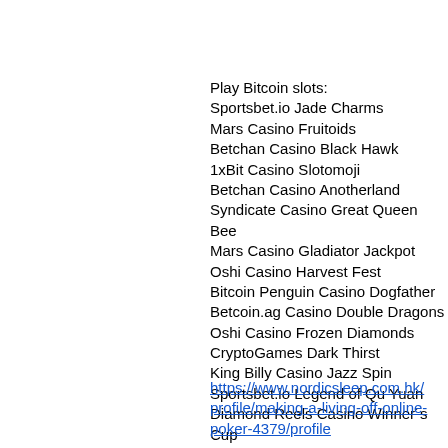Play Bitcoin slots:
Sportsbet.io Jade Charms
Mars Casino Fruitoids
Betchan Casino Black Hawk
1xBit Casino Slotomoji
Betchan Casino Anotherland
Syndicate Casino Great Queen Bee
Mars Casino Gladiator Jackpot
Oshi Casino Harvest Fest
Bitcoin Penguin Casino Dogfather
Betcoin.ag Casino Double Dragons
Oshi Casino Frozen Diamonds
CryptoGames Dark Thirst
King Billy Casino Jazz Spin
Sportsbet.io Legend of Qu Yuan
Diamond Reels Casino Winner´s Cup
https://www.nordicsleep.com.hk/profile/making-a-living-off-online-poker-4379/profile